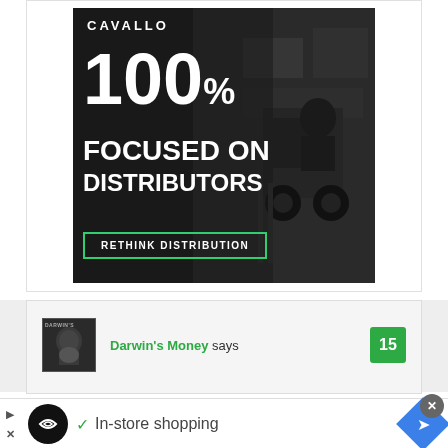[Figure (advertisement): Cavallo advertisement: black and white image of a forklift driver in a warehouse. Large white text reads '100% FOCUSED ON DISTRIBUTORS' with a green-bordered button saying 'RETHINK DISTRIBUTION'. Brand name CAVALLO at top.]
Darwin's Money says
15
In-store shopping